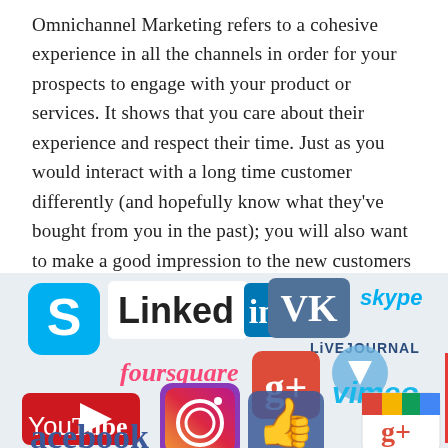Omnichannel Marketing refers to a cohesive experience in all the channels in order for your prospects to engage with your product or services. It shows that you care about their experience and respect their time. Just as you would interact with a long time customer differently (and hopefully know what they've bought from you in the past); you will also want to make a good impression to the new customers that have never interacted with you. Just being present on these channels is not enough, you need to have a strategy to help create sales opportunities.
[Figure (illustration): Collage of social media platform logos including Skype, LinkedIn, VK, LiveJournal, Foursquare, Google+, Vimeo, YouTube, Instagram, Facebook, and others arranged at angles.]